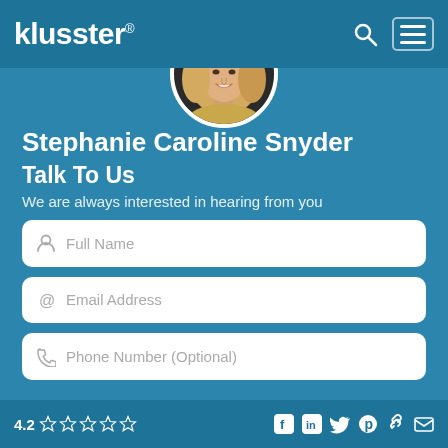klusster®
[Figure (photo): Circular profile photo of Stephanie Caroline Snyder, a blonde woman smiling]
Stephanie Caroline Snyder
Talk To Us
We are always interested in hearing from you
Full Name
Email Address
Phone Number (Optional)
4.2 ☆☆☆☆☆